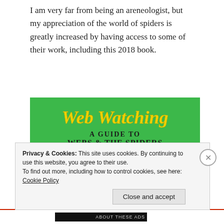I am very far from being an areneologist, but my appreciation of the world of spiders is greatly increased by having access to some of their work, including this 2018 book.
[Figure (photo): Book cover of 'Web Watching: A Guide to Webs & The Spiders That Make Them' — green cover with yellow cursive title, two circular photos of spiders, and a web illustration on a yellow background.]
Privacy & Cookies: This site uses cookies. By continuing to use this website, you agree to their use.
To find out more, including how to control cookies, see here: Cookie Policy
Close and accept